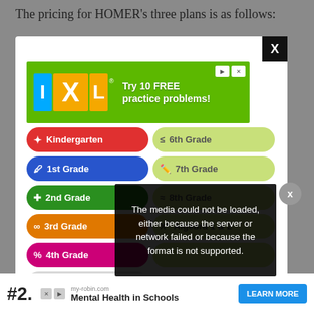The pricing for HOMER’s three plans is as follows:
[Figure (screenshot): IXL Learning advertisement showing grade level buttons from Kindergarten through Algebra 1 & 2, with a media error overlay reading: The media could not be loaded, either because the server or network failed or because the format is not supported.]
#2.